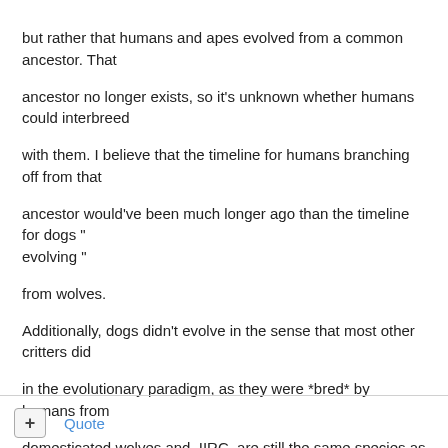but rather that humans and apes evolved from a common ancestor. That ancestor no longer exists, so it's unknown whether humans could interbreed with them. I believe that the timeline for humans branching off from that ancestor would've been much longer ago than the timeline for dogs " evolving " from wolves.

Additionally, dogs didn't evolve in the sense that most other critters did in the evolutionary paradigm, as they were *bred* by humans from domesticated wolves and, IIRC, are still the same species as the gray wolf.

So the dog example is not analagous to human evolution.

Suze